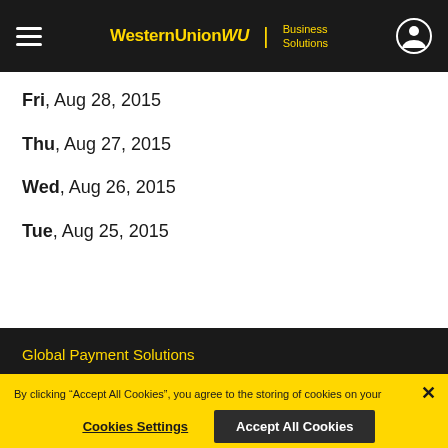Western Union WU Business Solutions
Fri, Aug 28, 2015
Thu, Aug 27, 2015
Wed, Aug 26, 2015
Tue, Aug 25, 2015
Global Payment Solutions
By clicking “Accept All Cookies”, you agree to the storing of cookies on your device to enhance site navigation, analyze site usage, and assist in our marketing efforts. More Information
Cookies Settings | Accept All Cookies